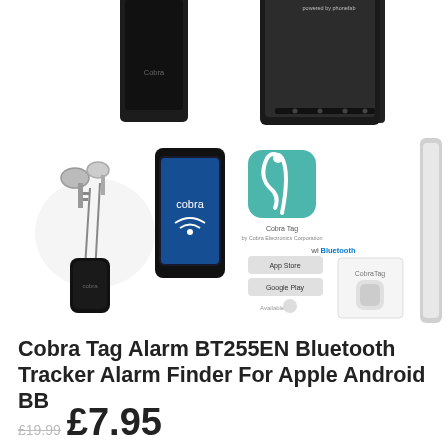[Figure (photo): Two product images at the top: a black Cobra Tag device on the left and a smartphone/tablet on the right, partially cropped at the top of the page.]
[Figure (photo): Product image showing car keys with a Cobra Tag fob, a smartphone with Cobra app, a Cobra Tag app icon with snake logo, Bluetooth branding, app store download buttons, and a Cobra Tag product packaging image. Also shows a slim white/silver object on the far right.]
Cobra Tag Alarm BT255EN Bluetooth Tracker Alarm Finder For Apple Android BB
RRP: £47.99
£19.99 £7.95